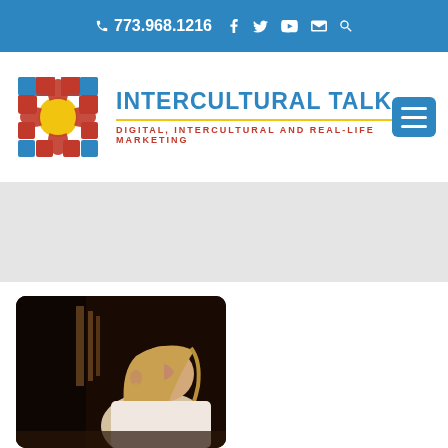773.968.1216  f  twitter  youtube  email  search
[Figure (logo): Intercultural Talk logo with colorful geometric pattern and text: INTERCULTURAL TALK - Digital, Intercultural and Real-Life Marketing]
[Figure (photo): A photograph of a young woman with long blonde hair, sitting and looking downward, in a dark indoor setting. The photo appears vintage/old.]